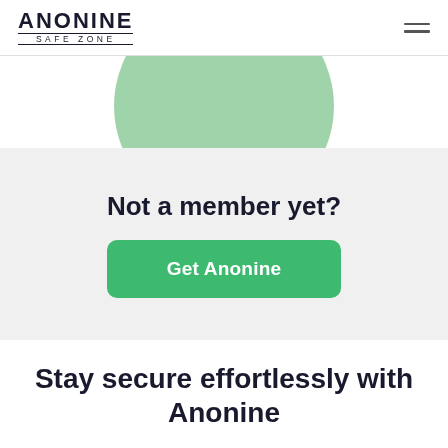ANONINE SAFE ZONE
[Figure (illustration): Green semi-circular shape partially visible at the top of the content area]
Not a member yet?
Get Anonine
Stay secure effortlessly with Anonine
Our customer's privacy is our highest priority which